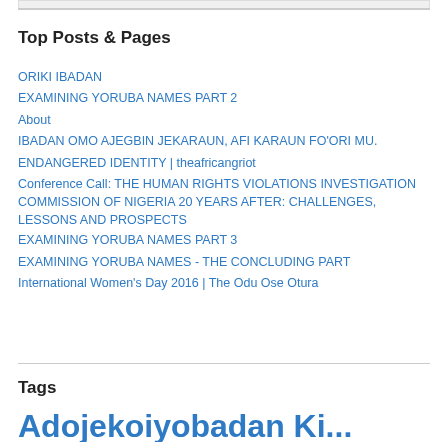Top Posts & Pages
ORIKI IBADAN
EXAMINING YORUBA NAMES PART 2
About
IBADAN OMO AJEGBIN JEKARAUN, AFI KARAUN FO'ORI MU.
ENDANGERED IDENTITY | theafricangriot
Conference Call: THE HUMAN RIGHTS VIOLATIONS INVESTIGATION COMMISSION OF NIGERIA 20 YEARS AFTER: CHALLENGES, LESSONS AND PROSPECTS
EXAMINING YORUBA NAMES PART 3
EXAMINING YORUBA NAMES - THE CONCLUDING PART
International Women's Day 2016 | The Odu Ose Otura
Tags
Adojekoiyobadan Ki...